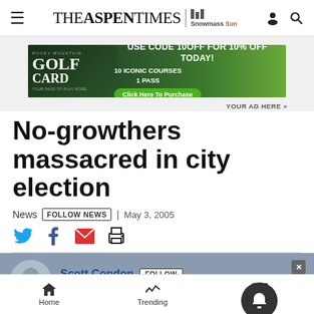THE ASPEN TIMES | Snowmass Sun
[Figure (infographic): Rocky Mountain Golf Card advertisement banner. Text: USE CODE 10OFF FOR 10% OFF TODAY! 10 ICONIC COURSES 1 PASS. Click Here To Purchase button.]
YOUR AD HERE »
No-growthers massacred in city election
News | FOLLOW NEWS | May 3, 2005
Social share icons: Twitter, Facebook, Email, Print
Scott Condon FOLLOW
scondon@aspentimes.com
Home  Trending  Sections